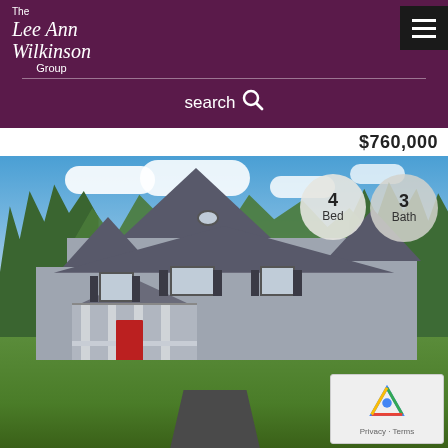[Figure (logo): The Lee Ann Wilkinson Group logo in white text on purple background]
search
$760,000
[Figure (photo): Two-story gray colonial home with red front door, covered porch, green lawn, trees in background. Badges showing 4 Bed and 3 Bath overlaid on upper right of photo.]